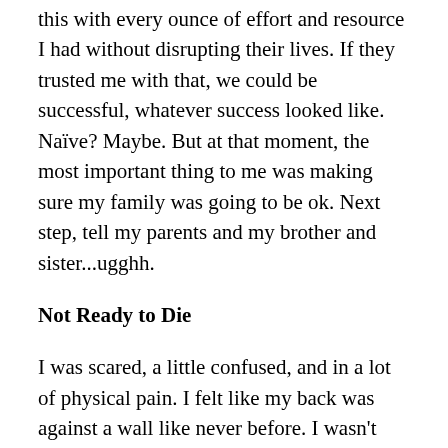this with every ounce of effort and resource I had without disrupting their lives. If they trusted me with that, we could be successful, whatever success looked like. Naïve? Maybe. But at that moment, the most important thing to me was making sure my family was going to be ok. Next step, tell my parents and my brother and sister...ugghh.
Not Ready to Die
I was scared, a little confused, and in a lot of physical pain. I felt like my back was against a wall like never before. I wasn't ready to be dealing with a disease and I definitely wasn't ready to die. I needed to stay focused and keep it together. I needed to change my mindset, rewire my emotions and direct my energy towards getting better. There were percentages